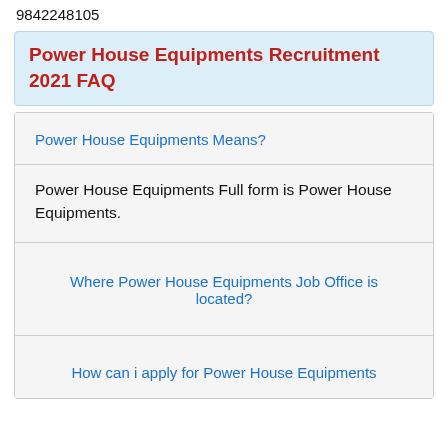9842248105
Power House Equipments Recruitment 2021 FAQ
Power House Equipments Means?
Power House Equipments Full form is Power House Equipments.
Where Power House Equipments Job Office is located?
How can i apply for Power House Equipments